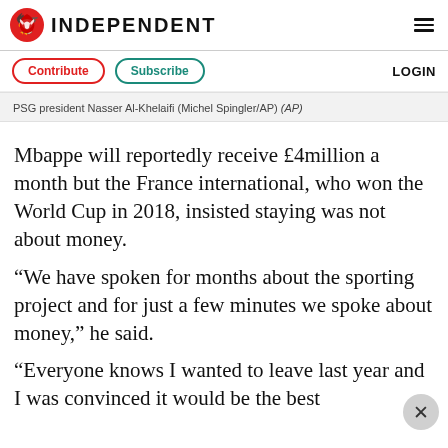INDEPENDENT
PSG president Nasser Al-Khelaifi (Michel Spingler/AP) (AP)
Mbappe will reportedly receive £4million a month but the France international, who won the World Cup in 2018, insisted staying was not about money.
“We have spoken for months about the sporting project and for just a few minutes we spoke about money,” he said.
“Everyone knows I wanted to leave last year and I was convinced it would be the best